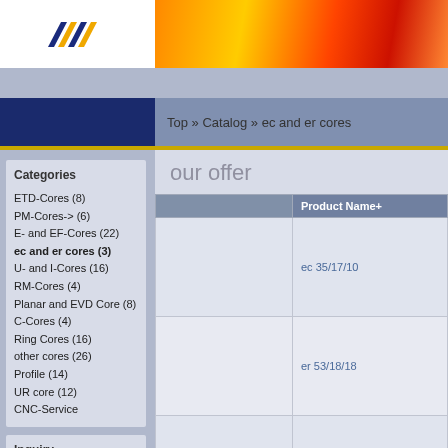Header with logo and banner image
Top » Catalog » ec and er cores
Categories
ETD-Cores (8)
PM-Cores-> (6)
E- and EF-Cores (22)
ec and er cores (3)
U- and I-Cores (16)
RM-Cores (4)
Planar and EVD Core (8)
C-Cores (4)
Ring Cores (16)
other cores (26)
Profile (14)
UR core (12)
CNC-Service
Inquiry
Do you have any questions? Please Contact us.
our offer
|  | Product Name+ |
| --- | --- |
|  | ec 35/17/10 |
|  | er 53/18/18 |
|  | er 53/20/18 |